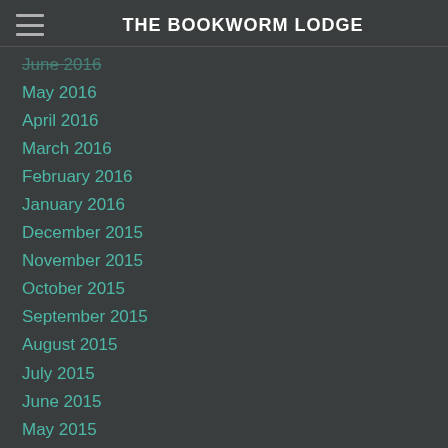THE BOOKWORM LODGE
June 2016
May 2016
April 2016
March 2016
February 2016
January 2016
December 2015
November 2015
October 2015
September 2015
August 2015
July 2015
June 2015
May 2015
April 2015
March 2015
February 2015
January 2015